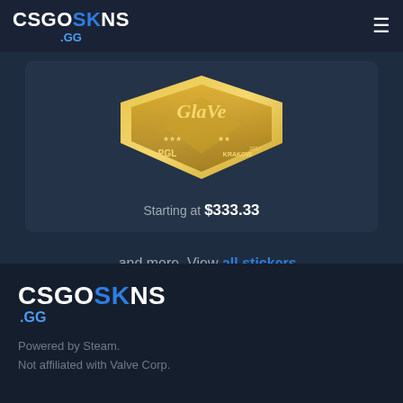CSGOSKINS.GG
[Figure (illustration): Gold PGL Krakow 2017 CS:GO sticker with ornate gold shield design and text 'PGL 2017 KRAKOW']
Starting at $333.33
... and more. View all stickers.
CSGOSKINS.GG
Powered by Steam.
Not affiliated with Valve Corp.